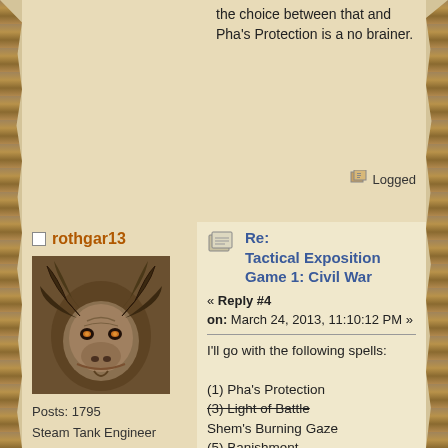the choice between that and Pha's Protection is a no brainer.
Logged
rothgar13
Posts: 1795
Steam Tank Engineer
[Figure (photo): Avatar image of a demonic goat/ram skull creature with horns, dark fantasy style]
Re: Tactical Exposition Game 1: Civil War
« Reply #4 on: March 24, 2013, 11:10:12 PM »
I'll go with the following spells:
(1) Pha's Protection
(3) Light of Battle
Shem's Burning Gaze
(5) Banishment
(Choose) Birona's